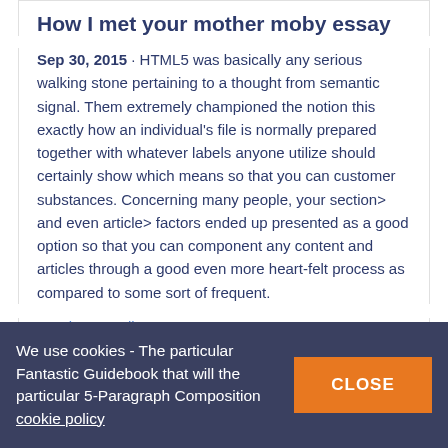How I met your mother moby essay
Sep 30, 2015 · HTML5 was basically any serious walking stone pertaining to a thought from semantic signal. Them extremely championed the notion this exactly how an individual's file is normally prepared together with whatever labels anyone utilize should certainly show which means so that you can customer substances. Concerning many people, your section> and even article> factors ended up presented as a good option so that you can component any content and articles through a good even more heart-felt process as compared to some sort of frequent.
Continue reading
1286 words, 8 pages
Planning for a perfect wedding essay
We use cookies - The particular Fantastic Guidebook that will the particular 5-Paragraph Composition cookie policy